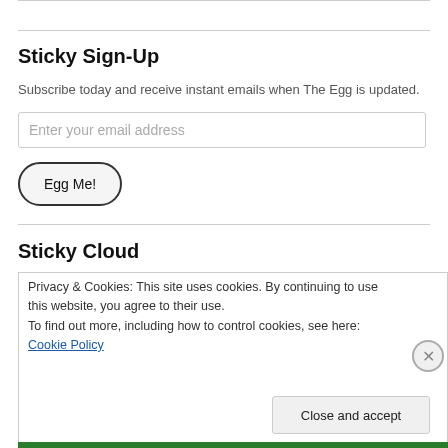Sticky Sign-Up
Subscribe today and receive instant emails when The Egg is updated.
Enter your email address
Egg Me!
Sticky Cloud
Privacy & Cookies: This site uses cookies. By continuing to use this website, you agree to their use.
To find out more, including how to control cookies, see here: Cookie Policy
Close and accept